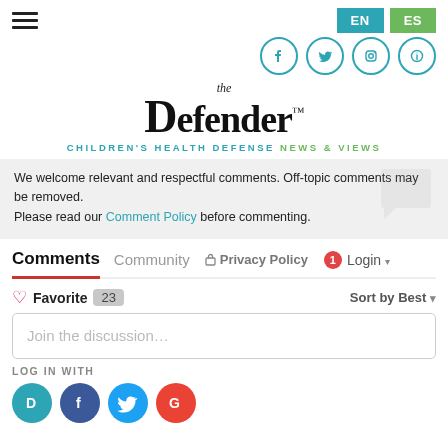The Defender — CHILDREN'S HEALTH DEFENSE NEWS & VIEWS
We welcome relevant and respectful comments. Off-topic comments may be removed.
Please read our Comment Policy before commenting.
Comments  Community  Privacy Policy  1  Login
Favorite  23  Sort by Best
Join the discussion…
LOG IN WITH